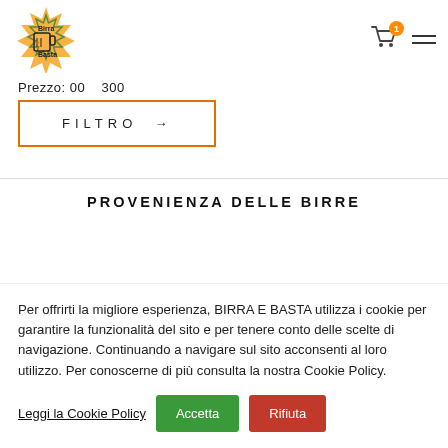[Figure (logo): Birra e Basta logo with orange star/flower shape and beer mug icon]
Prezzo: 00 — 300
FILTRO →
PROVENIENZA DELLE BIRRE
Per offrirti la migliore esperienza, BIRRA E BASTA utilizza i cookie per garantire la funzionalità del sito e per tenere conto delle scelte di navigazione. Continuando a navigare sul sito acconsenti al loro utilizzo. Per conoscerne di più consulta la nostra Cookie Policy.
Leggi la Cookie Policy
Accetta
Rifiuta